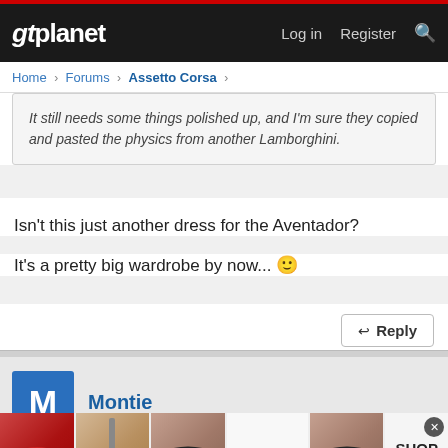gtplanet  Log in  Register
Home > Forums > Assetto Corsa >
It still needs some things polished up, and I'm sure they copied and pasted the physics from another Lamborghini.
Isn't this just another dress for the Aventador?
It's a pretty big wardrobe by now... 😊
Reply
Montie
[Figure (advertisement): Ulta beauty advertisement banner with makeup images including lips, brush, eye makeup, Ulta logo, and SHOP NOW text]